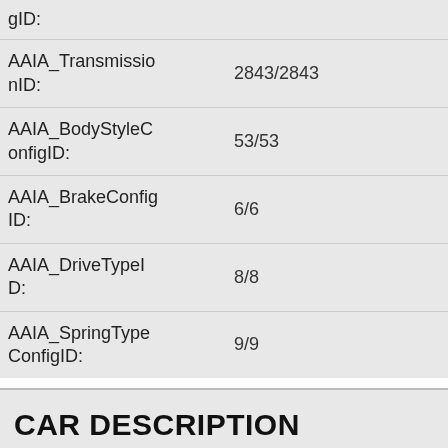| Field | Value |
| --- | --- |
| gID: |  |
| AAIA_TransmissionID: | 2843/2843 |
| AAIA_BodyStyleConfigID: | 53/53 |
| AAIA_BrakeConfigID: | 6/6 |
| AAIA_DriveTypeID: | 8/8 |
| AAIA_SpringTypeConfigID: | 9/9 |
CAR DESCRIPTION
Driver Air Bag
Passenger Air Bag